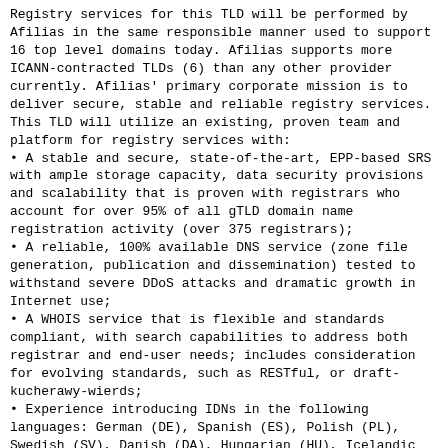Registry services for this TLD will be performed by Afilias in the same responsible manner used to support 16 top level domains today. Afilias supports more ICANN-contracted TLDs (6) than any other provider currently. Afilias' primary corporate mission is to deliver secure, stable and reliable registry services. This TLD will utilize an existing, proven team and platform for registry services with:
• A stable and secure, state-of-the-art, EPP-based SRS with ample storage capacity, data security provisions and scalability that is proven with registrars who account for over 95% of all gTLD domain name registration activity (over 375 registrars);
• A reliable, 100% available DNS service (zone file generation, publication and dissemination) tested to withstand severe DDoS attacks and dramatic growth in Internet use;
• A WHOIS service that is flexible and standards compliant, with search capabilities to address both registrar and end-user needs; includes consideration for evolving standards, such as RESTful, or draft-kucherawy-wierds;
• Experience introducing IDNs in the following languages: German (DE), Spanish (ES), Polish (PL), Swedish (SV), Danish (DA), Hungarian (HU), Icelandic (IS), Latvian (LV), Lithuanian (LT), Korean (KO), Simplified and Traditional Chinese (CN), Devanagari (HI-DEVA), Russian (RU), Belarusian (BE), Ukrainian (UK), Bosnian (BS), Serbian (SR), Macedonian (MK) and Bulgarian (BG) across the TLDs it serves;